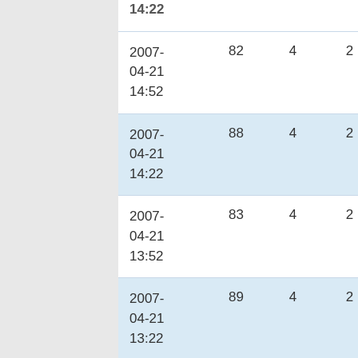| Date | Col1 | Col2 | Col3 | Col4 |
| --- | --- | --- | --- | --- |
| 2007-04-21 14:52 | 82 | 4 | 2 | 32 |
| 2007-04-21 14:22 | 88 | 4 | 2 | 22 |
| 2007-04-21 13:52 | 83 | 4 | 2 | 16 |
| 2007-04-21 13:22 | 89 | 4 | 2 | 13 |
| 2007-04-21 12:52 | 88 | 4 | 2 | 18 |
| 2007-04-21 12:?? | 91 | 4 | 2 | 10 |